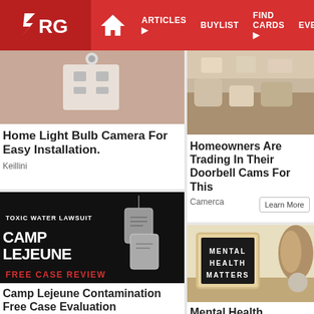ARG | ARTICLES | BUYLIST | FIND CARDS | EVENTS
[Figure (photo): Light bulb camera product photo with power outlet]
Home Light Bulb Camera For Easy Installation.
Keillini
[Figure (photo): Homeowners doorbell camera product photo]
Homeowners Are Trading In Their Doorbell Cams For This
Camerca
[Figure (photo): Camp Lejeune Toxic Water Lawsuit ad with dog tags. Text: TOXIC WATER LAWSUIT CAMP LEJEUNE FREE CASE REVIEW]
Camp Lejeune Contamination Free Case Evaluation
[Figure (photo): Mental Health Matters letter board sign with decorative items]
Mental Health Treatment at Home
Safe Haven Behavioral Health & Wellness